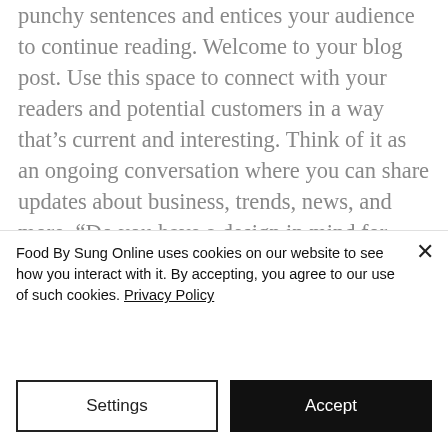punchy sentences and entices your audience to continue reading. Welcome to your blog post. Use this space to connect with your readers and potential customers in a way that's current and interesting. Think of it as an ongoing conversation where you can share updates about business, trends, news, and more. “Do you have a design in mind for your blog? Whether you prefer a trendy postcard look or you’re going
Food By Sung Online uses cookies on our website to see how you interact with it. By accepting, you agree to our use of such cookies. Privacy Policy
Settings
Accept